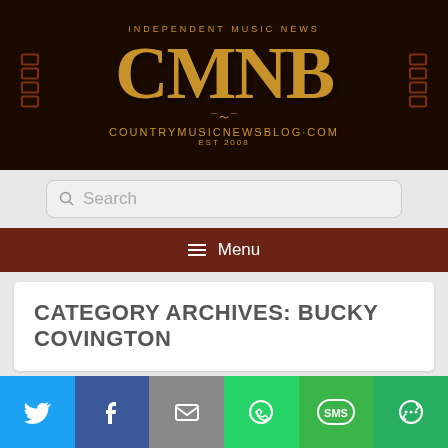[Figure (logo): CMNB Country Music News Blog logo on dark brown background with gold lettering. Text reads: INDEPENDENT MUSIC NEWS, CMNB, COUNTRYMUSICNEWSBLOG.COM, EST 2008]
Search
Menu
CATEGORY ARCHIVES: BUCKY COVINGTON
[Figure (screenshot): Empty white content card area]
Social share bar: Twitter, Facebook, Email, WhatsApp, SMS, More